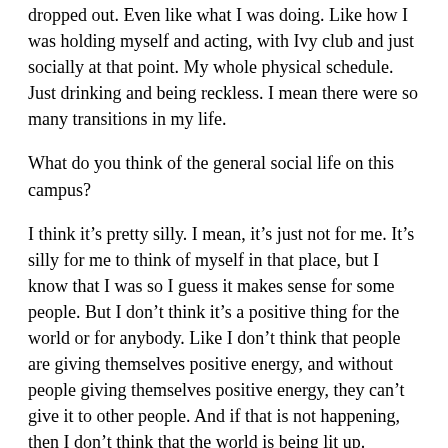dropped out. Even like what I was doing. Like how I was holding myself and acting, with Ivy club and just socially at that point. My whole physical schedule. Just drinking and being reckless. I mean there were so many transitions in my life.
What do you think of the general social life on this campus?
I think it’s pretty silly. I mean, it’s just not for me. It’s silly for me to think of myself in that place, but I know that I was so I guess it makes sense for some people. But I don’t think it’s a positive thing for the world or for anybody. Like I don’t think that people are giving themselves positive energy, and without people giving themselves positive energy, they can’t give it to other people. And if that is not happening, then I don’t think that the world is being lit up.
Would you recommend Princeton to someone?
I wouldn’t go to Princeton now, and I wouldn’t send my own